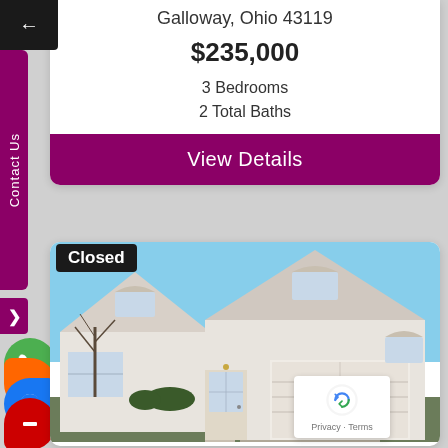Galloway, Ohio 43119
$235,000
3 Bedrooms
2 Total Baths
View Details
Contact Us
Closed
[Figure (photo): Exterior photo of a white single-story ranch home with two-car garage in Galloway, Ohio. Clear blue sky in background, bare trees visible.]
Privacy · Terms